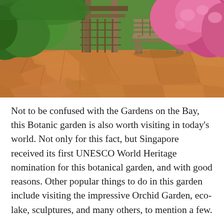[Figure (photo): A garden scene with a wooden bench on a flagstone patio, surrounded by lush green shrubs and bright pink flowering bushes, with a wooden pergola in the background.]
Not to be confused with the Gardens on the Bay, this Botanic garden is also worth visiting in today's world. Not only for this fact, but Singapore received its first UNESCO World Heritage nomination for this botanical garden, and with good reasons. Other popular things to do in this garden include visiting the impressive Orchid Garden, eco-lake, sculptures, and many others, to mention a few.